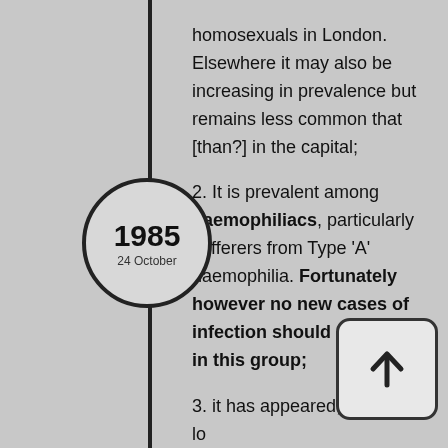[Figure (infographic): Timeline element showing date 1985, 24 October as a circular node on a vertical timeline line]
homosexuals in London. Elsewhere it may also be increasing in prevalence but remains less common that [than?] in the capital;
2. It is prevalent among haemophiliacs, particularly sufferers from Type 'A' haemophilia. Fortunately however no new cases of infection should now occur in this group;
3. it has appeared, so far at lo... prevalence among female p... of haemophiliacs;
[Figure (illustration): Up arrow icon in a rounded rectangle box]